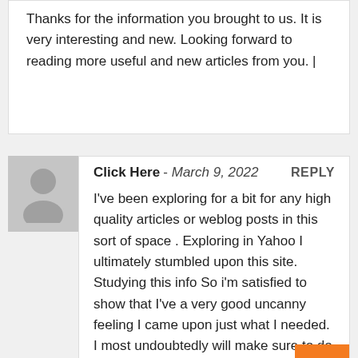Thanks for the information you brought to us. It is very interesting and new. Looking forward to reading more useful and new articles from you. |
Click Here - March 9, 2022   REPLY

I've been exploring for a bit for any high quality articles or weblog posts in this sort of space . Exploring in Yahoo I ultimately stumbled upon this site. Studying this info So i'm satisfied to show that I've a very good uncanny feeling I came upon just what I needed. I most undoubtedly will make sure to do not to remember this site and give it a glance on a relentless basis.